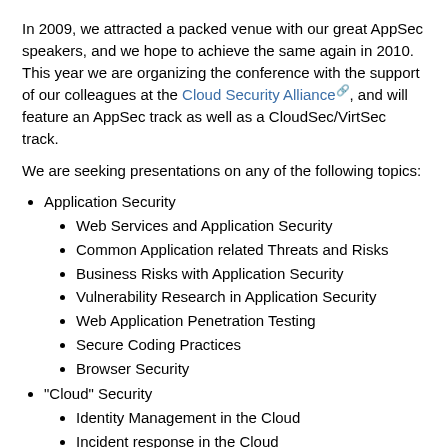In 2009, we attracted a packed venue with our great AppSec speakers, and we hope to achieve the same again in 2010. This year we are organizing the conference with the support of our colleagues at the Cloud Security Alliance, and will feature an AppSec track as well as a CloudSec/VirtSec track.
We are seeking presentations on any of the following topics:
Application Security
Web Services and Application Security
Common Application related Threats and Risks
Business Risks with Application Security
Vulnerability Research in Application Security
Web Application Penetration Testing
Secure Coding Practices
Browser Security
"Cloud" Security
Identity Management in the Cloud
Incident response in the Cloud
New cloud-based malicious threats